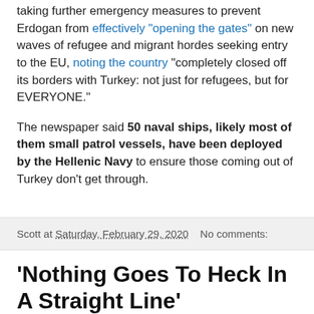taking further emergency measures to prevent Erdogan from effectively "opening the gates" on new waves of refugee and migrant hordes seeking entry to the EU, noting the country "completely closed off its borders with Turkey: not just for refugees, but for EVERYONE."
The newspaper said 50 naval ships, likely most of them small patrol vessels, have been deployed by the Hellenic Navy to ensure those coming out of Turkey don't get through.
Scott at Saturday, February 29, 2020   No comments:
'Nothing Goes To Heck In A Straight Line'